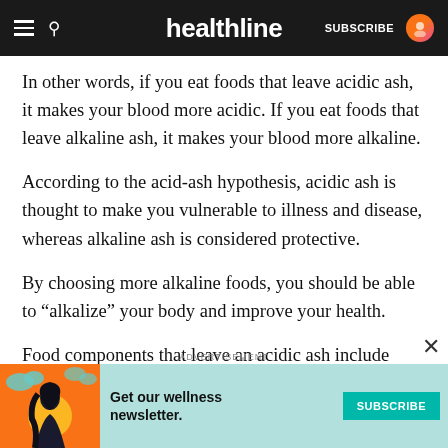healthline — SUBSCRIBE
In other words, if you eat foods that leave acidic ash, it makes your blood more acidic. If you eat foods that leave alkaline ash, it makes your blood more alkaline.
According to the acid-ash hypothesis, acidic ash is thought to make you vulnerable to illness and disease, whereas alkaline ash is considered protective.
By choosing more alkaline foods, you should be able to “alkalize” your body and improve your health.
Food components that leave an acidic ash include protein, phosphate, and sulfur, while alkaline components include calcium, magnesium, and
ADVERTISEMENT
[Figure (infographic): Advertisement banner for Healthline wellness newsletter with illustrated woman and teal subscribe button. Text: Get our wellness newsletter. SUBSCRIBE]